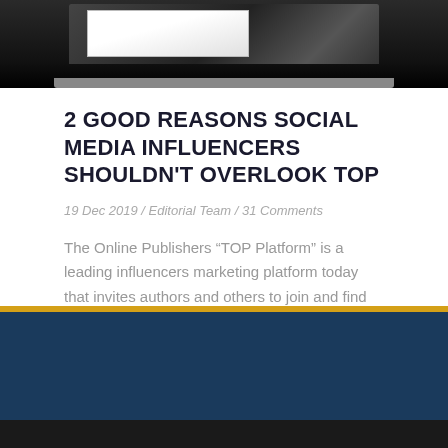[Figure (photo): Dark banner at top showing a person working on a laptop, partially cropped]
2 GOOD REASONS SOCIAL MEDIA INFLUENCERS SHOULDN'T OVERLOOK TOP
19 Dec 2019 / Editorial Team / 31 Comments
The Online Publishers “TOP Platform” is a leading influencers marketing platform today that invites authors and others to join and find a…
READ MORE ▸